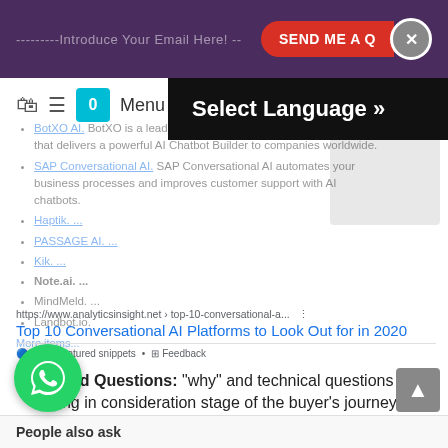---------Introduce Your Email Here! --   SEND ME A Q   ×
Select Language »
BotXO AI. BotXO is a leading Conversational AI solution provider that delivers a powerful AI Chatbot Builder to companies worldwide.
SAP Conversational AI. SAP Conversational AI automates your business processes and improves customer support with AI chatbots.
Haptik. ...
PASSAGE AI. ...
Kik. ...
Note.ai. ...
MindMeld. ...
Landbot.io.
More items...
https://www.analyticsinsight.net › top-10-conversational-a...
Top 10 Conversational AI Platforms to Look Out for in 2020
About featured snippets  •  Feedback
Related Questions: “why” and technical questions belong in consideration stage of the buyer’s journey.
People also ask